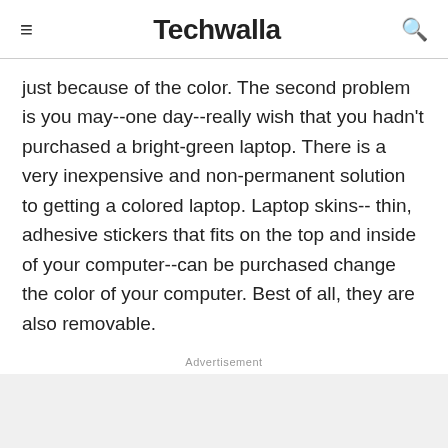Techwalla
just because of the color. The second problem is you may--one day--really wish that you hadn't purchased a bright-green laptop. There is a very inexpensive and non-permanent solution to getting a colored laptop. Laptop skins-- thin, adhesive stickers that fits on the top and inside of your computer--can be purchased change the color of your computer. Best of all, they are also removable.
Advertisement